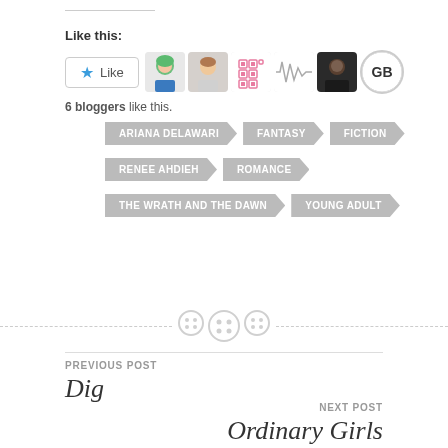Like this:
[Figure (other): Like button with star icon and 5 blogger avatar thumbnails]
6 bloggers like this.
ARIANA DELAWARI
FANTASY
FICTION
RENEE AHDIEH
ROMANCE
THE WRATH AND THE DAWN
YOUNG ADULT
[Figure (illustration): Three button/sewing button icons on a dashed horizontal rule divider]
PREVIOUS POST
Dig
NEXT POST
Ordinary Girls